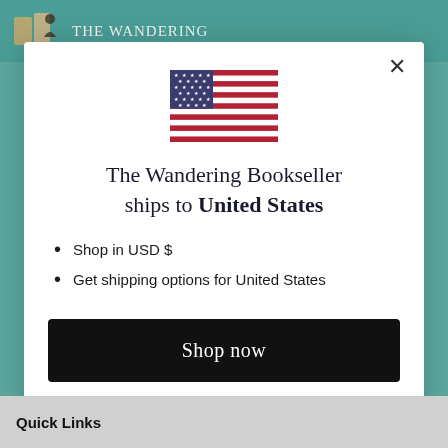THE WANDERING
[Figure (illustration): US flag SVG illustration]
The Wandering Bookseller ships to United States
Shop in USD $
Get shipping options for United States
Shop now
Change shipping country
Quick Links